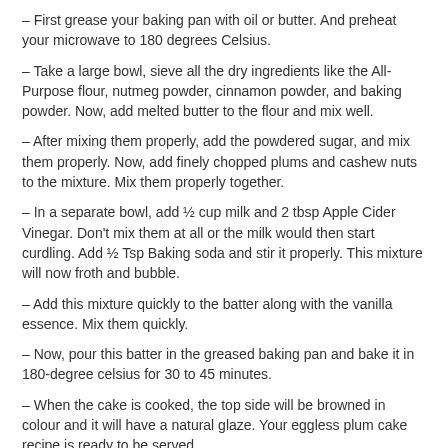– First grease your baking pan with oil or butter. And preheat your microwave to 180 degrees Celsius.
– Take a large bowl, sieve all the dry ingredients like the All-Purpose flour, nutmeg powder, cinnamon powder, and baking powder. Now, add melted butter to the flour and mix well.
– After mixing them properly, add the powdered sugar, and mix them properly. Now, add finely chopped plums and cashew nuts to the mixture. Mix them properly together.
– In a separate bowl, add ½ cup milk and 2 tbsp Apple Cider Vinegar. Don't mix them at all or the milk would then start curdling. Add ½ Tsp Baking soda and stir it properly. This mixture will now froth and bubble.
– Add this mixture quickly to the batter along with the vanilla essence. Mix them quickly.
– Now, pour this batter in the greased baking pan and bake it in 180-degree celsius for 30 to 45 minutes.
– When the cake is cooked, the top side will be browned in colour and it will have a natural glaze. Your eggless plum cake recipe is ready to be served.